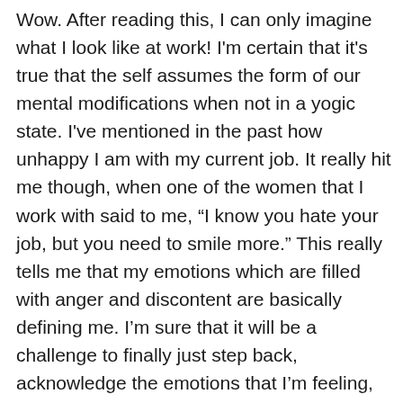Wow. After reading this, I can only imagine what I look like at work! I'm certain that it's true that the self assumes the form of our mental modifications when not in a yogic state. I've mentioned in the past how unhappy I am with my current job. It really hit me though, when one of the women that I work with said to me, “I know you hate your job, but you need to smile more.” This really tells me that my emotions which are filled with anger and discontent are basically defining me. I’m sure that it will be a challenge to finally just step back, acknowledge the emotions that I’m feeling, and just think of something positive so that my “self’ will be able to portray a more positive sense of well being. I feel like that sort of thing “rubs off” on other coworkers, too,